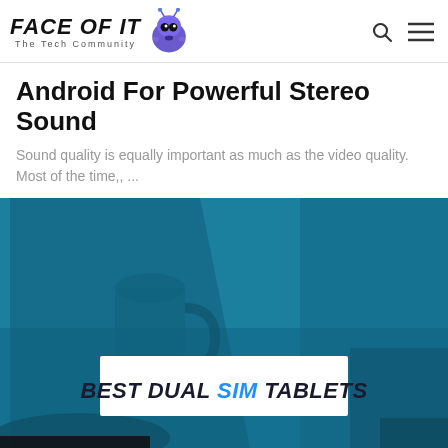FACE OF IT — The Tech Community
Android For Powerful Stereo Sound
Sound quality is equally important as much as the video quality. Most of the time,, ...
By IG  September 13, 2018
[Figure (photo): Blue-tinted photo of a tablet/laptop on a desk with a coffee mug, overlaid with a white banner reading BEST DUAL SIM TABLETS in bold italic text]